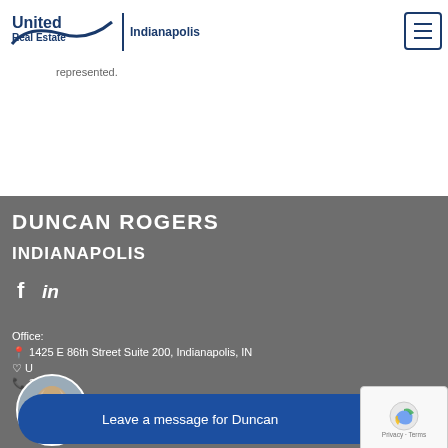United Real Estate Indianapolis
manipulate and disclose them to the buyer. Absent this, the material facts related to the sale. With a buyer agency, the buyer/customer will be represented in the purchase of the home. This scenario is different from a typical transaction where the buyer is not technically represented.
DUNCAN ROGERS
INDIANAPOLIS
Office:
1425 E 86th Street Suite 200, Indianapolis, IN
U
31
Leave a message for Duncan